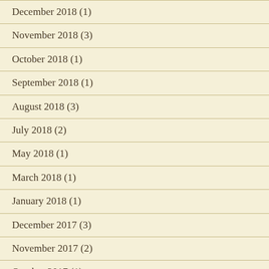December 2018 (1)
November 2018 (3)
October 2018 (1)
September 2018 (1)
August 2018 (3)
July 2018 (2)
May 2018 (1)
March 2018 (1)
January 2018 (1)
December 2017 (3)
November 2017 (2)
October 2017 (1)
September 2017 (1)